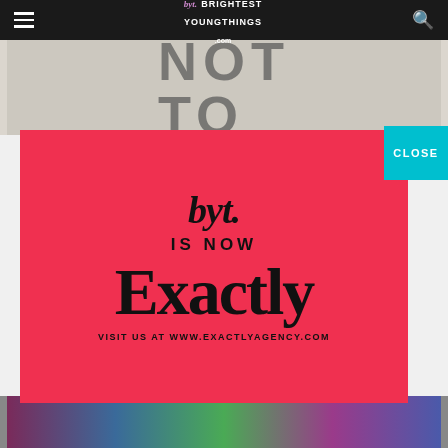byt. BRIGHTEST YOUNG THINGS .com
[Figure (photo): Top photo strip showing abstract artwork with letters NOT TO visible]
[Figure (screenshot): Red modal advertisement overlay. byt. IS NOW Exactly. VISIT US AT WWW.EXACTLYAGENCY.COM]
byt.
IS NOW
Exactly
VISIT US AT WWW.EXACTLYAGENCY.COM
[Figure (photo): Bottom photo strip showing colorful artwork with flowers and fabric]